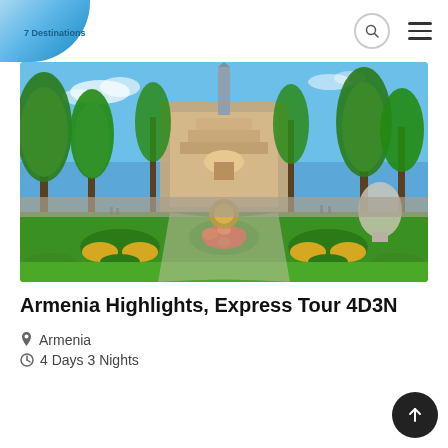7 Destinations (logo) | search icon | menu icon
[Figure (photo): Outdoor park scene in Armenia featuring formal garden beds with colorful flowers and shaped hedges, tall green trees, a grand cascading staircase monument in the background, blue sky, and sculptural elements along a pedestrian promenade.]
Armenia Highlights, Express Tour 4D3N
Armenia
4 Days 3 Nights